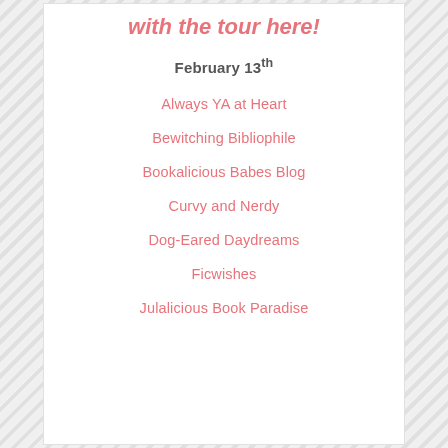with the tour here!
February 13th
Always YA at Heart
Bewitching Bibliophile
Bookalicious Babes Blog
Curvy and Nerdy
Dog-Eared Daydreams
Ficwishes
Julalicious Book Paradise